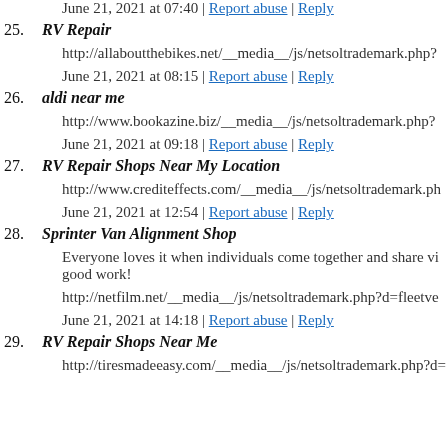June 21, 2021 at 07:40 | Report abuse | Reply
25. RV Repair
http://allaboutthebikes.net/__media__/js/netsoltrademark.php?
June 21, 2021 at 08:15 | Report abuse | Reply
26. aldi near me
http://www.bookazine.biz/__media__/js/netsoltrademark.php?
June 21, 2021 at 09:18 | Report abuse | Reply
27. RV Repair Shops Near My Location
http://www.crediteffects.com/__media__/js/netsoltrademark.ph
June 21, 2021 at 12:54 | Report abuse | Reply
28. Sprinter Van Alignment Shop
Everyone loves it when individuals come together and share views. good work!
http://netfilm.net/__media__/js/netsoltrademark.php?d=fleetve
June 21, 2021 at 14:18 | Report abuse | Reply
29. RV Repair Shops Near Me
http://tiresmadeeasy.com/__media__/js/netsoltrademark.php?d=